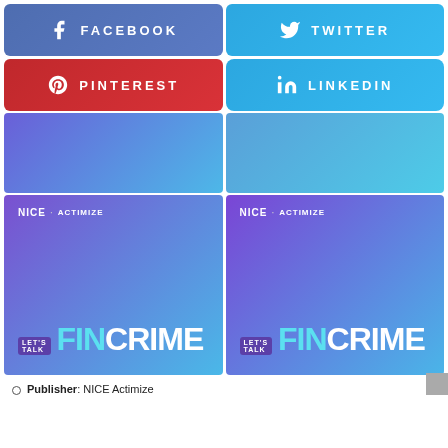[Figure (infographic): Social media sharing buttons: Facebook (blue), Twitter (cyan), Pinterest (red), LinkedIn (cyan)]
[Figure (infographic): Preview thumbnails of Let's Talk FinCrime podcast artwork — two gradient purple/blue boxes]
[Figure (infographic): Let's Talk FinCrime podcast cover art (left) — NICE Actimize logo, purple-blue gradient]
[Figure (infographic): Let's Talk FinCrime podcast cover art (right) — NICE Actimize logo, purple-blue gradient]
Publisher: NICE Actimize